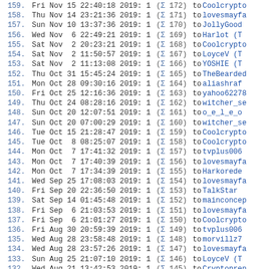159. Fri Nov 15 22:40:18 2019: 1 (Σ 172) to Coolcrypto
158. Thu Nov 14 23:21:36 2019: 1 (Σ 171) to lovesmayfa
157. Sun Nov 10 13:37:36 2019: 1 (Σ 170) to JollyGood
156. Wed Nov  6 22:49:21 2019: 1 (Σ 169) to Harlot (T
155. Sat Nov  2 20:23:21 2019: 1 (Σ 168) to Coolcrypto
154. Sat Nov  2 11:50:57 2019: 1 (Σ 167) to LoyceV (T
153. Sat Nov  2 11:13:08 2019: 1 (Σ 166) to YOSHIE (T
152. Thu Oct 31 15:45:24 2019: 1 (Σ 165) to TheBearded
151. Mon Oct 28 09:30:16 2019: 1 (Σ 164) to aliashraf
150. Fri Oct 25 12:16:36 2019: 1 (Σ 163) to yahoo62278
149. Thu Oct 24 08:28:16 2019: 1 (Σ 162) to witcher_se
148. Sun Oct 20 12:07:51 2019: 1 (Σ 161) to o_e_l_e_o
147. Sun Oct 20 07:00:29 2019: 1 (Σ 160) to witcher_se
146. Tue Oct 15 21:28:47 2019: 1 (Σ 159) to Coolcrypto
145. Tue Oct  8 08:25:07 2019: 1 (Σ 158) to Coolcrypto
144. Mon Oct  7 17:41:32 2019: 1 (Σ 157) to tvplus006
143. Mon Oct  7 17:40:39 2019: 1 (Σ 156) to lovesmayfa
142. Mon Oct  7 17:34:39 2019: 1 (Σ 155) to Harkorede
141. Wed Sep 25 17:08:03 2019: 1 (Σ 154) to lovesmayfa
140. Fri Sep 20 22:36:50 2019: 1 (Σ 153) to TalkStar
139. Sat Sep 14 01:45:48 2019: 1 (Σ 152) to mainconcep
138. Fri Sep  6 21:03:53 2019: 1 (Σ 151) to lovesmayfa
137. Fri Sep  6 21:01:27 2019: 1 (Σ 150) to Coolcrypto
136. Fri Aug 30 20:59:39 2019: 1 (Σ 149) to tvplus006
135. Wed Aug 28 23:58:48 2019: 1 (Σ 148) to morvillz7
134. Wed Aug 28 23:57:26 2019: 1 (Σ 147) to lovesmayfa
133. Sun Aug 25 21:07:10 2019: 1 (Σ 146) to LoyceV (T
132. Wed Aug 21 13:42:53 2019: 1 (Σ 145) to Cryptopren
131. Sun Aug 18 19:24:49 2019: 1 (Σ 144) to Meethii (
130. Sun Aug 18 14:51:47 2019: 1 (Σ 143) to o_e_l_e_